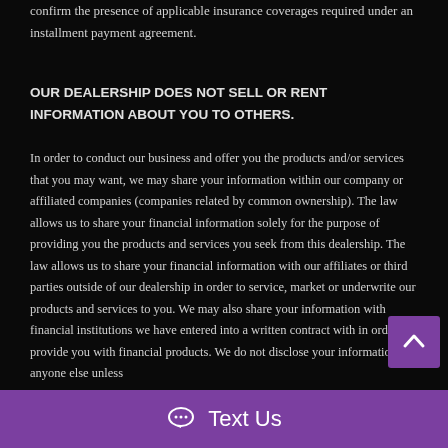confirm the presence of applicable insurance coverages required under an installment payment agreement.
OUR DEALERSHIP DOES NOT SELL OR RENT INFORMATION ABOUT YOU TO OTHERS.
In order to conduct our business and offer you the products and/or services that you may want, we may share your information within our company or affiliated companies (companies related by common ownership). The law allows us to share your financial information solely for the purpose of providing you the products and services you seek from this dealership. The law allows us to share your financial information with our affiliates or third parties outside of our dealership in order to service, market or underwrite our products and services to you. We may also share your information with financial institutions we have entered into a written contract with in order to provide you with financial products. We do not disclose your information to anyone else unless